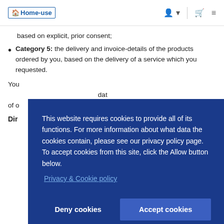Home-use [logo] navigation bar with account, basket, and menu icons
based on explicit, prior consent;
Category 5: the delivery and invoice-details of the products ordered by you, based on the delivery of a service which you requested.
You [partially visible text about data]
Dir[partially visible]
[Figure (screenshot): Cookie consent modal overlay with dark blue background. Text: 'This website requires cookies to provide all of its functions. For more information about what data the cookies contain, please see our privacy policy page. To accept cookies from this site, click the Allow button below.' Link: 'Privacy & Cookie policy'. Buttons: 'Deny cookies' and 'Accept cookies'.]